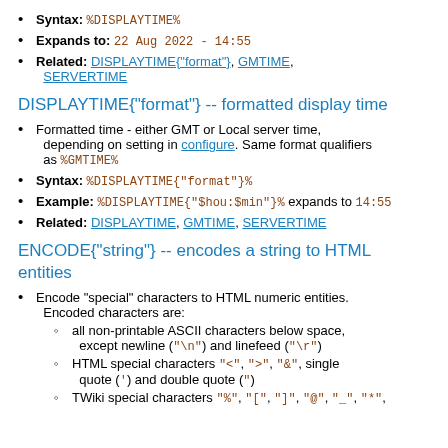Syntax: %DISPLAYTIME%
Expands to: 22 Aug 2022 - 14:55
Related: DISPLAYTIME{"format"}, GMTIME, SERVERTIME
DISPLAYTIME{"format"} -- formatted display time
Formatted time - either GMT or Local server time, depending on setting in configure. Same format qualifiers as %GMTIME%
Syntax: %DISPLAYTIME{"format"}%
Example: %DISPLAYTIME{"$hou:$min"}% expands to 14:55
Related: DISPLAYTIME, GMTIME, SERVERTIME
ENCODE{"string"} -- encodes a string to HTML entities
Encode "special" characters to HTML numeric entities. Encoded characters are:
all non-printable ASCII characters below space, except newline ("\n") and linefeed ("\r")
HTML special characters "<", ">", "&", single quote (‘) and double quote (“)
TWiki special characters "%", "[", "]", "@", "_", "*", "="